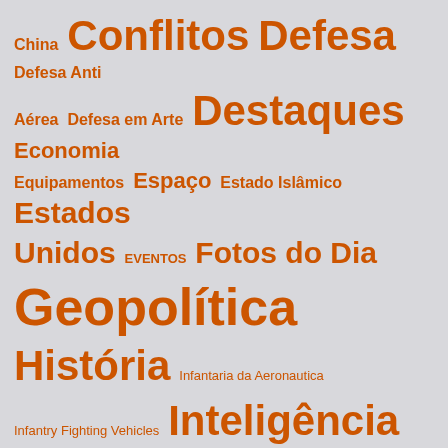[Figure (infographic): Word cloud / tag cloud with various topics in Portuguese and English, all in orange on light gray background. Topics include: China, Conflitos, Defesa, Defesa Anti Aérea, Defesa em Arte, Destaques, Economia, Equipamentos, Espaço, Estado Islâmico, Estados Unidos, EVENTOS, Fotos do Dia, Geopolítica, História, Infantaria da Aeronautica, Infantry Fighting Vehicles, Inteligência, Meios Navais, Mísseis, Navios, Negócios e serviços, Opinião, Patrulheiros, PÉ DE POEIRA, Rússia, Segurança Pública, Sistemas de Armas, Sistemas Navais, Sugestão de Leitura, Síria, Tecnologia, Terrorismo, Traduções-Plano]